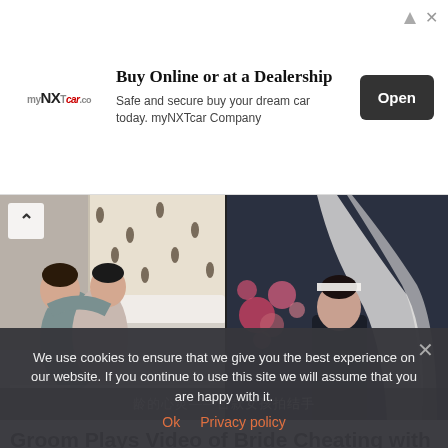[Figure (screenshot): Advertisement banner for myNXTcar.co: 'Buy Online or at a Dealership — Safe and secure buy your dream car today. myNXTcar Company' with an Open button]
[Figure (screenshot): Two video stills side by side: left shows two people embracing on a bed, right shows a bride at what appears to be a wedding venue. Chinese text subtitle at bottom.]
Groom Plays Video of Bride Cheating with Her Brother-in-Law While Sister is Pregnant
We use cookies to ensure that we give you the best experience on our website. If you continue to use this site we will assume that you are happy with it.
Ok   Privacy policy